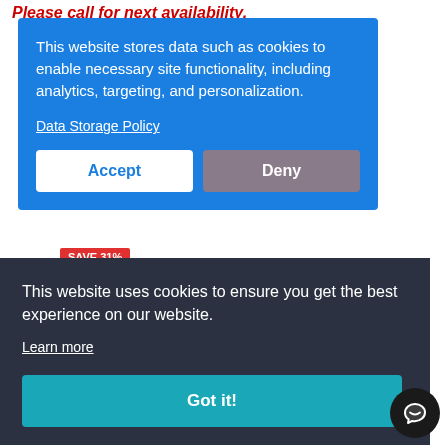Please call for next availability.
This website stores data such as cookies to enable necessary site functionality, including analytics, targeting, and personalization.
Data Storage Policy
Accept
Deny
SAVE 31%
This website uses cookies to ensure you get the best experience on our website.
Learn more
Got it!